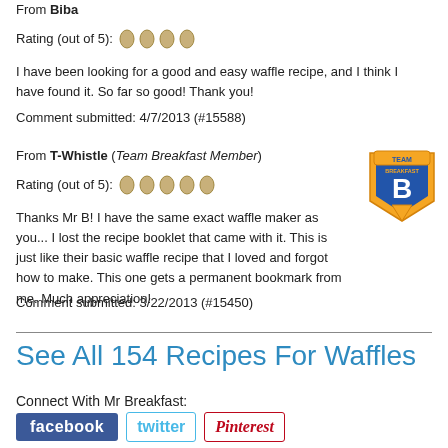From Biba
Rating (out of 5): [4 eggs]
I have been looking for a good and easy waffle recipe, and I think I have found it. So far so good! Thank you!
Comment submitted: 4/7/2013 (#15588)
From T-Whistle (Team Breakfast Member)
Rating (out of 5): [5 eggs]
[Figure (logo): Team Breakfast badge/shield logo with orange and blue colors]
Thanks Mr B! I have the same exact waffle maker as you... I lost the recipe booklet that came with it. This is just like their basic waffle recipe that I loved and forgot how to make. This one gets a permanent bookmark from me. Much appreciation!
Comment submitted: 3/22/2013 (#15450)
See All 154 Recipes For Waffles
Connect With Mr Breakfast:
[Figure (logo): Facebook, Twitter, and Pinterest social media buttons]